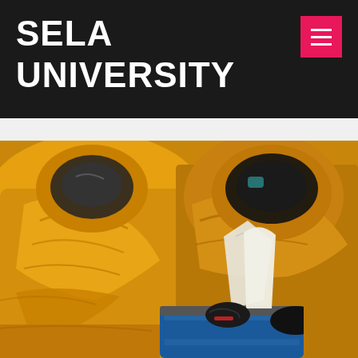SELA UNIVERSITY
[Figure (photo): Two workers in yellow hazmat suits and black gloves working with a blue industrial barrel or drum, one holding a white funnel-like tool over the container. Close-up action shot in an industrial/safety context.]